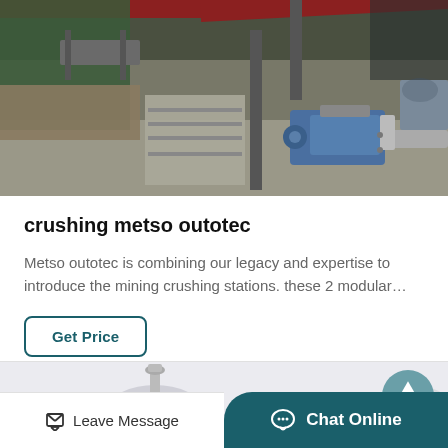[Figure (photo): Industrial mining crushing machinery, conveyor equipment with red steel frame and blue motor/pump components on concrete floor.]
crushing metso outotec
Metso outotec is combining our legacy and expertise to introduce the mining crushing stations. these 2 modular…
[Figure (photo): Partial view of a large industrial silo or tank structure, light grey, on white background.]
Leave Message   Chat Online